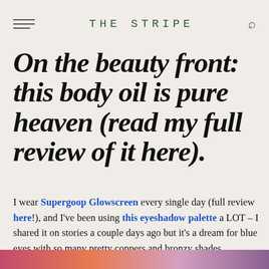THE STRIPE
On the beauty front: this body oil is pure heaven (read my full review of it here).
I wear Supergoop Glowscreen every single day (full review here!), and I've been using this eyeshadow palette a LOT – I shared it on stories a couple days ago but it's a dream for blue eyes with so many pretty coppers and bronzy shades.
[Figure (photo): Partial view of a colorful image at the bottom of the page, showing pink, orange and purple tones]